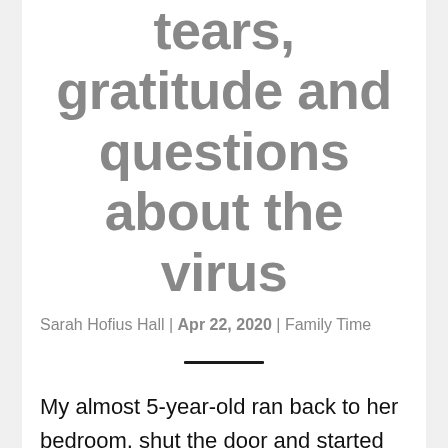tears, gratitude and questions about the virus
Sarah Hofius Hall | Apr 22, 2020 | Family Time
My almost 5-year-old ran back to her bedroom, shut the door and started blasting Disney music.
When I opened the door, I found her sitting on the floor, surrounded by Barbie dolls and frowning. I asked her what was wrong. She